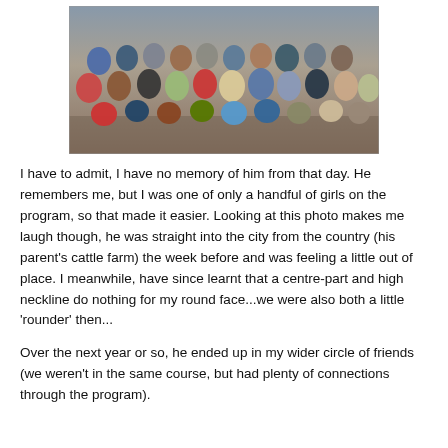[Figure (photo): A large group photo of students/participants, approximately 30-40 people arranged in rows, appears to be taken indoors at an orientation or program event.]
I have to admit, I have no memory of him from that day. He remembers me, but I was one of only a handful of girls on the program, so that made it easier. Looking at this photo makes me laugh though, he was straight into the city from the country (his parent's cattle farm) the week before and was feeling a little out of place. I meanwhile, have since learnt that a centre-part and high neckline do nothing for my round face...we were also both a little 'rounder' then...
Over the next year or so, he ended up in my wider circle of friends (we weren't in the same course, but had plenty of connections through the program).